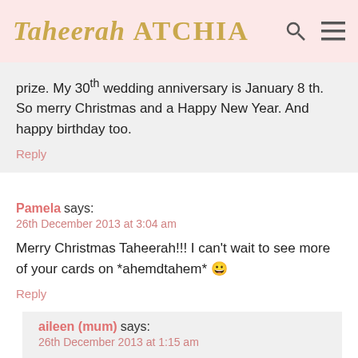Taheerah ATCHIA
prize. My 30th wedding anniversary is January 8 th. So merry Christmas and a Happy New Year. And happy birthday too.
Reply
Pamela says:
26th December 2013 at 3:04 am
Merry Christmas Taheerah!!! I can't wait to see more of your cards on *ahemdtahem* 😀
Reply
aileen (mum) says:
26th December 2013 at 1:15 am